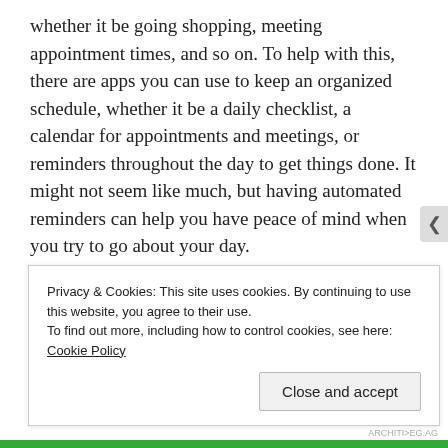whether it be going shopping, meeting appointment times, and so on. To help with this, there are apps you can use to keep an organized schedule, whether it be a daily checklist, a calendar for appointments and meetings, or reminders throughout the day to get things done. It might not seem like much, but having automated reminders can help you have peace of mind when you try to go about your day.
Tracking Apps
It might seem like a bit much to track your kids, but some apps let you have a whole range of options when it comes to monitoring what your kids do. The functionality is often up to
Privacy & Cookies: This site uses cookies. By continuing to use this website, you agree to their use.
To find out more, including how to control cookies, see here: Cookie Policy
Close and accept